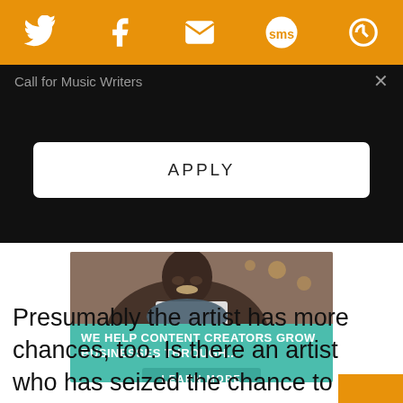Twitter, Facebook, Email, SMS, and another icon social share bar
Call for Music Writers
APPLY
[Figure (photo): Advertisement showing a smiling woman with curly hair working on a laptop in a cafe setting, with teal overlay text reading 'WE HELP CONTENT CREATORS GROW BUSINESSES THROUGH...' and a 'LEARN MORE' button]
Presumably the artist has more chances, too. Is there an artist who has seized the chance to embrace nonidentity, who consistently says